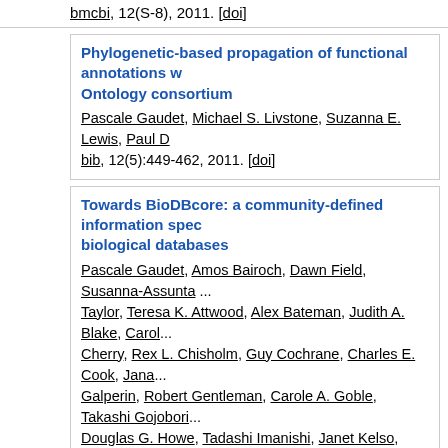bmcbi, 12(S-8), 2011. [doi]
Phylogenetic-based propagation of functional annotations w... Ontology consortium
Pascale Gaudet, Michael S. Livstone, Suzanna E. Lewis, Paul D...
bib, 12(5):449-462, 2011. [doi]
Towards BioDBcore: a community-defined information spec... biological databases
Pascale Gaudet, Amos Bairoch, Dawn Field, Susanna-Assunta ..., Taylor, Teresa K. Attwood, Alex Bateman, Judith A. Blake, Carol..., Cherry, Rex L. Chisholm, Guy Cochrane, Charles E. Cook, Jana..., Galperin, Robert Gentleman, Carole A. Goble, Takashi Gojobori..., Douglas G. Howe, Tadashi Imanishi, Janet Kelso, David Landsm..., Lewis, Ilene Karsch-Mizrachi, Sandra E. Orchard, B. F. Francis ..., Ranganathan, Lorna Richardson, Philippe Rocca-Serra, Paul N...., Smedley, Christopher Southan, Tin Wee Tan, Tatiana A. Tatusov..., Owen White, Chisato Yamasaki.
biodb, 2011, 2011. [doi]